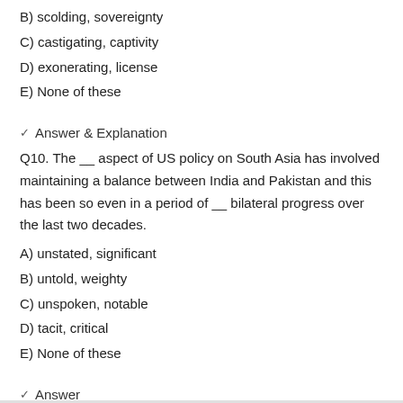B) scolding, sovereignty
C) castigating, captivity
D) exonerating, license
E) None of these
✔ Answer & Explanation
Q10. The __ aspect of US policy on South Asia has involved maintaining a balance between India and Pakistan and this has been so even in a period of __ bilateral progress over the last two decades.
A) unstated, significant
B) untold, weighty
C) unspoken, notable
D) tacit, critical
E) None of these
✔ Answer